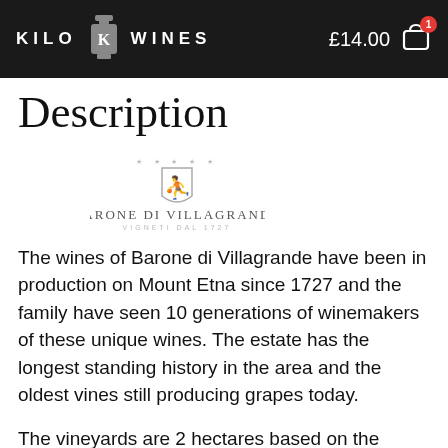KILO WINES  £14.00  [cart: 1]
Description
[Figure (logo): Barone di Villagrande winery logo with crest and text 'BARONE DI VILLAGRANDE' and 'VIGNETI DAL 1727']
The wines of Barone di Villagrande have been in production on Mount Etna since 1727 and the family have seen 10 generations of winemakers of these unique wines. The estate has the longest standing history in the area and the oldest vines still producing grapes today.
The vineyards are 2 hectares based on the Eastern slope, 200 metres above sea level where they receive sun from sunrise to sunset.